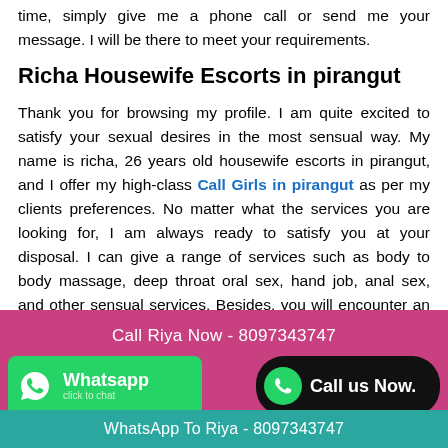My phone number and WhatsApp number. do not waste your time, simply give me a phone call or send me your message. I will be there to meet your requirements.
Richa Housewife Escorts in pirangut
Thank you for browsing my profile. I am quite excited to satisfy your sexual desires in the most sensual way. My name is richa, 26 years old housewife escorts in pirangut, and I offer my high-class Call Girls in pirangut as per my clients preferences. No matter what the services you are looking for, I am always ready to satisfy you at your disposal. I can give a range of services such as body to body massage, deep throat oral sex, hand job, anal sex, and other sensual services. Besides, you will encounter an intense sexual session with me. My curvy and attractive body figure would allure you and entice your erotic requirements. Give me a call or send me your message on WhatsApp number I will respond you quickly. If you are looking for some erotic and
Call Riya Now - 8097343747
Whatsapp click to chat
Call us Now.
WhatsApp To Riya - 8097343747